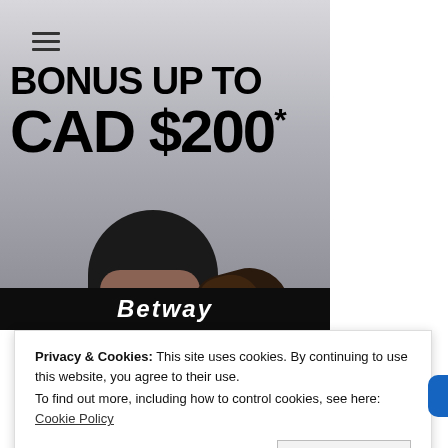[Figure (screenshot): Hamburger menu icon (three horizontal lines) in top left corner of webpage]
[Figure (photo): Sports betting advertisement banner showing large bold text 'BONUS UP TO CAD $200*' over a photo of a baseball player swinging, with Betway logo at the bottom]
Privacy & Cookies: This site uses cookies. By continuing to use this website, you agree to their use.
To find out more, including how to control cookies, see here: Cookie Policy
Close and accept